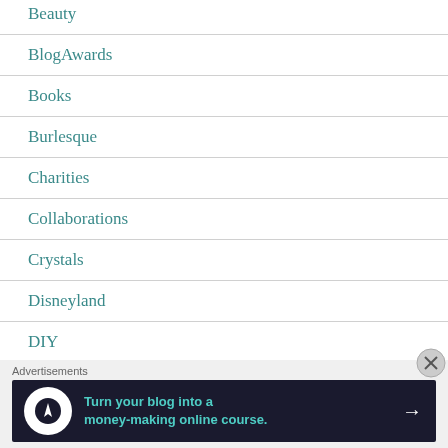Beauty
BlogAwards
Books
Burlesque
Charities
Collaborations
Crystals
Disneyland
DIY
Advertisements
[Figure (other): Advertisement banner: Turn your blog into a money-making online course.]